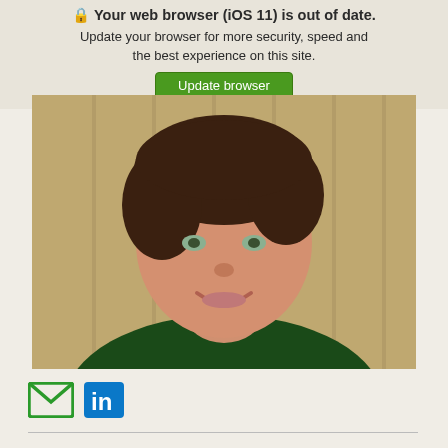Your web browser (iOS 11) is out of date. Update your browser for more security, speed and the best experience on this site. [Update browser]
[Figure (photo): Portrait photo of a person with short dark hair wearing a dark green sweater, smiling, with a wooden panel background]
[Figure (other): Social media icons: email (green envelope) and LinkedIn (blue square with 'in')]